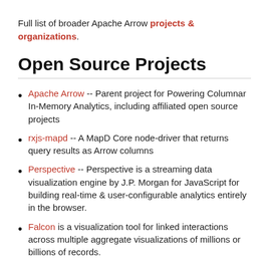Full list of broader Apache Arrow projects & organizations.
Open Source Projects
Apache Arrow -- Parent project for Powering Columnar In-Memory Analytics, including affiliated open source projects
rxjs-mapd -- A MapD Core node-driver that returns query results as Arrow columns
Perspective -- Perspective is a streaming data visualization engine by J.P. Morgan for JavaScript for building real-time & user-configurable analytics entirely in the browser.
Falcon is a visualization tool for linked interactions across multiple aggregate visualizations of millions or billions of records.